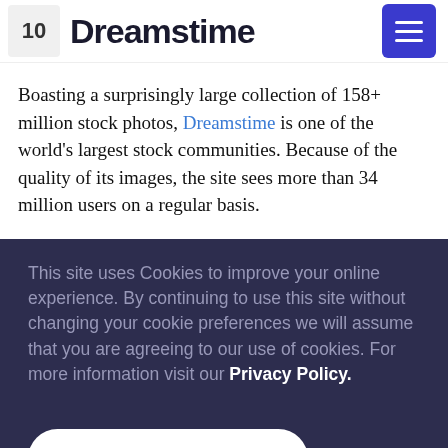10 Dreamstime
Boasting a surprisingly large collection of 158+ million stock photos, Dreamstime is one of the world's largest stock communities. Because of the quality of its images, the site sees more than 34 million users on a regular basis.
This site uses Cookies to improve your online experience. By continuing to use this site without changing your cookie preferences we will assume that you are agreeing to our use of cookies. For more information visit our Privacy Policy.
Understood